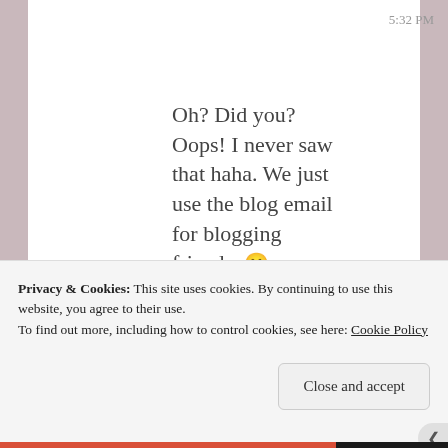5:32 PM
Oh? Did you? Oops! I never saw that haha. We just use the blog email for blogging friends. 🙂
★ Liked by 1 person
Privacy & Cookies: This site uses cookies. By continuing to use this website, you agree to their use.
To find out more, including how to control cookies, see here: Cookie Policy